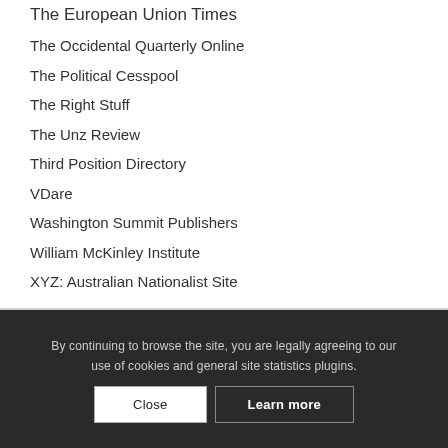The European Union Times
The Occidental Quarterly Online
The Political Cesspool
The Right Stuff
The Unz Review
Third Position Directory
VDare
Washington Summit Publishers
William McKinley Institute
XYZ: Australian Nationalist Site
By continuing to browse the site, you are legally agreeing to our use of cookies and general site statistics plugins. Close  Learn more